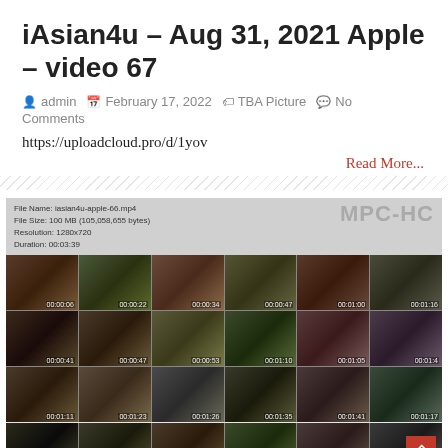iAsian4u – Aug 31, 2021 Apple – video 67
admin  February 17, 2022  TBA Picture  No Comments
https://uploadcloud.pro/d/1yov
Read More...
[Figure (screenshot): Video thumbnail grid showing MPC-HC media player preview with file info: File Name: iasian4u-apple-66.mp4, File Size: 100 MB (105,058,655 bytes), Resolution: 1280x720, Duration: 00:03:39. Grid of 18 video thumbnails arranged in 3 rows of 6.]